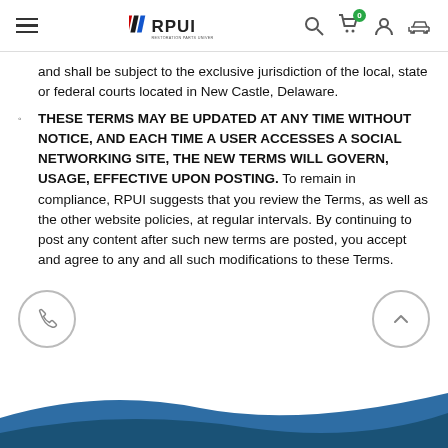RPUI navigation header with logo, search, cart, account, and vehicle icons
and shall be subject to the exclusive jurisdiction of the local, state or federal courts located in New Castle, Delaware.
THESE TERMS MAY BE UPDATED AT ANY TIME WITHOUT NOTICE, AND EACH TIME A USER ACCESSES A SOCIAL NETWORKING SITE, THE NEW TERMS WILL GOVERN, USAGE, EFFECTIVE UPON POSTING. To remain in compliance, RPUI suggests that you review the Terms, as well as the other website policies, at regular intervals. By continuing to post any content after such new terms are posted, you accept and agree to any and all such modifications to these Terms.